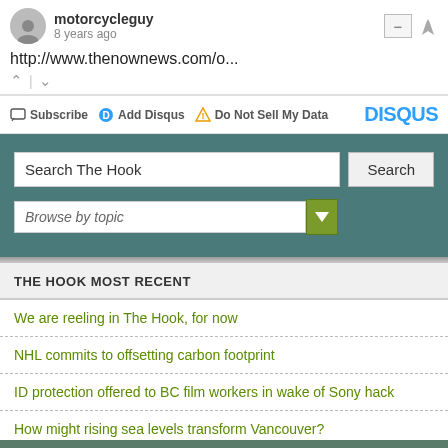motorcycleguy
8 years ago
http://www.thenownews.com/o...
Subscribe  Add Disqus  Do Not Sell My Data  DISQUS
Search The Hook  Search  Browse by topic
THE HOOK MOST RECENT
We are reeling in The Hook, for now
NHL commits to offsetting carbon footprint
ID protection offered to BC film workers in wake of Sony hack
How might rising sea levels transform Vancouver?
Lobbyist Patrick Kinsella fined $1,500 for tardy, and incorrect, report